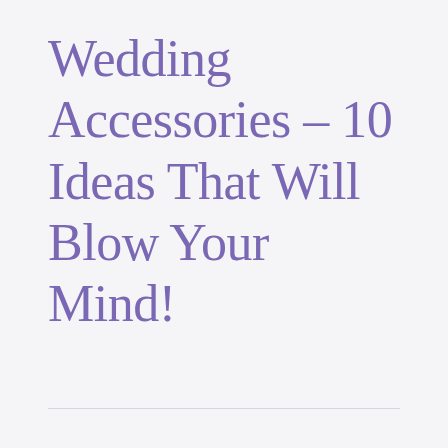Wedding Accessories – 10 Ideas That Will Blow Your Mind!